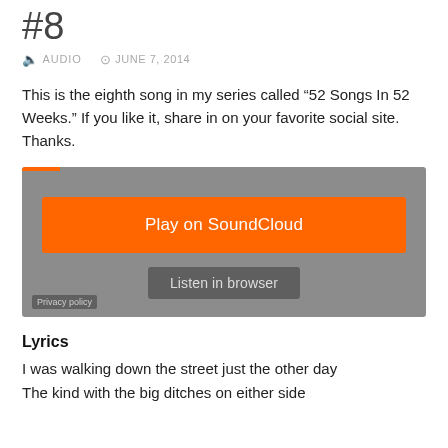#8
AUDIO   JUNE 7, 2014
This is the eighth song in my series called “52 Songs In 52 Weeks.” If you like it, share in on your favorite social site. Thanks.
[Figure (other): SoundCloud embedded audio player widget with orange 'Play on SoundCloud' button and 'Listen in browser' button on grey background]
Lyrics
I was walking down the street just the other day
The kind with the big ditches on either side